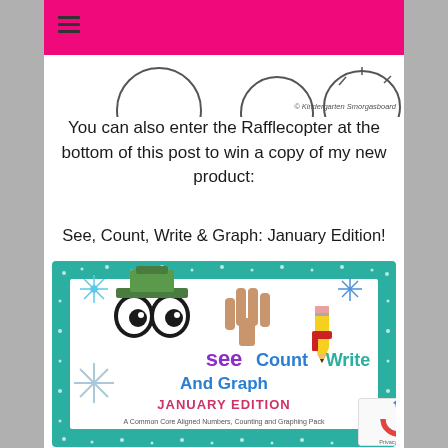[Figure (illustration): Pink navigation header bar with hamburger menu icon (three horizontal lines) on the left side]
[Figure (illustration): Partial clip-art images of circular outlined shapes (heads/faces) at top of white content area, with copyright text '© Kindergarten Smorgasboard' at right]
You can also enter the Rafflecopter at the bottom of this post to win a copy of my new product:
See, Count, Write & Graph: January Edition!
[Figure (illustration): Product cover image for 'See Count Write And Graph January Edition' — teal/green sparkle border with snowflakes, cartoon googly eyes with green hat, a hand with 4 fingers raised, a pencil with red scarf, colorful text 'see Count Write And Graph JANUARY EDITION', subtitle 'A Common Core Aligned Numbers, Counting and Graphing Pack']